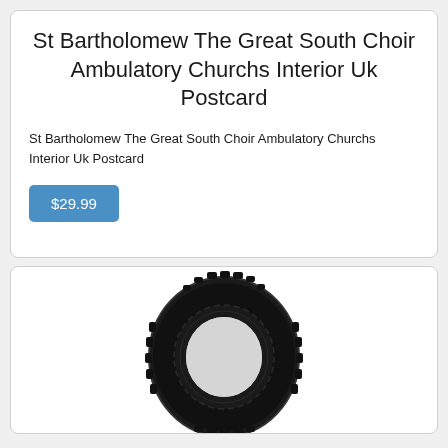St Bartholomew The Great South Choir Ambulatory Churchs Interior Uk Postcard
St Bartholomew The Great South Choir Ambulatory Churchs Interior Uk Postcard
$29.99
[Figure (photo): A black motorcycle/dirt bike tire shown at an angle, with aggressive knobby tread pattern visible on the top and sides]